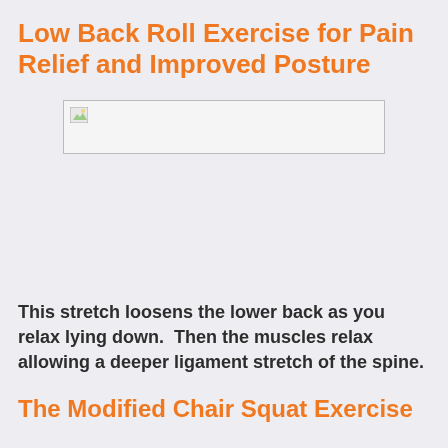Low Back Roll Exercise for Pain Relief and Improved Posture
[Figure (photo): Image placeholder for low back roll exercise illustration]
This stretch loosens the lower back as you relax lying down.  Then the muscles relax allowing a deeper ligament stretch of the spine.
The Modified Chair Squat Exercise